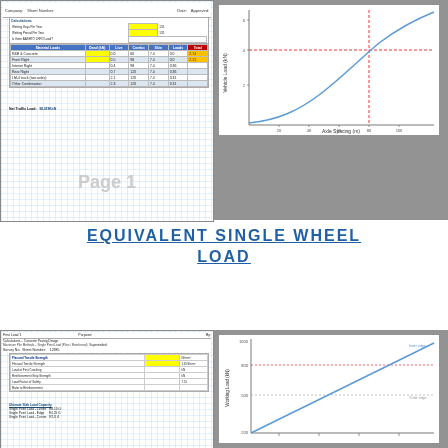[Figure (screenshot): Thumbnail of a concrete paving design calculation sheet (Page 1) with grid background, data tables with highlighted yellow cells, and partial traffic load data.]
[Figure (continuous-plot): Line chart showing a curve (likely load vs. distance or similar), with a horizontal dashed red line and a vertical red line marking a threshold. X-axis labeled with values, y-axis labeled with load values (kN). Background grey.]
EQUIVALENT SINGLE WHEEL LOAD
[Figure (screenshot): Thumbnail of second calculation sheet for Concrete Paving Design – Maximum Pile Methods – Single Point Load (Plain/Reinforced). Contains input table with yellow cells for flexural tensile strength, load at first cracking, reinforcement strip strength, load factor of safety, ratio to reinforcement. Shows ultimate slab load capacity values: Single Point Load (Centre) R8,13 t1, Single Point Load (Edge) R4,29 t1, Single Point Load (Corner) R2,0 t1.]
[Figure (continuous-plot): Line chart (bottom right) showing a straight rising line on a white background within a grey thumbnail frame. Y-axis labeled with load values (kN), x-axis shows distance or similar. Two horizontal reference lines visible.]